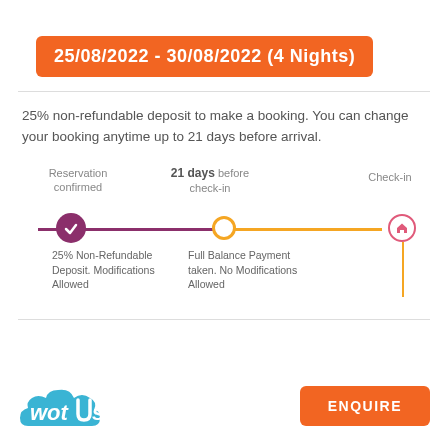25/08/2022 - 30/08/2022 (4 Nights)
25% non-refundable deposit to make a booking. You can change your booking anytime up to 21 days before arrival.
[Figure (infographic): Booking policy timeline showing three stages: Reservation confirmed (25% Non-Refundable Deposit, Modifications Allowed), 21 days before check-in (Full Balance Payment taken, No Modifications Allowed), and Check-in.]
[Figure (logo): wotUsee logo in blue]
ENQUIRE